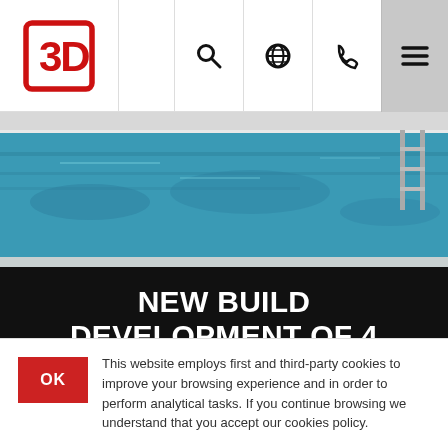3D logo with navigation icons: search, globe, phone, menu
[Figure (photo): Swimming pool with blue water, ladder visible on the right side, pool edge and surroundings visible]
NEW BUILD DEVELOPMENT OF 4 BEDROOM HOUSES WITH SEA VIEWS IN LA CALA DE MIJAS - MIJAS COSTA
This development consists of 93 2 to 4 bedroom houses with large terraces, many with lovely sea views. This also
This website employs first and third-party cookies to improve your browsing experience and in order to perform analytical tasks. If you continue browsing we understand that you accept our cookies policy.